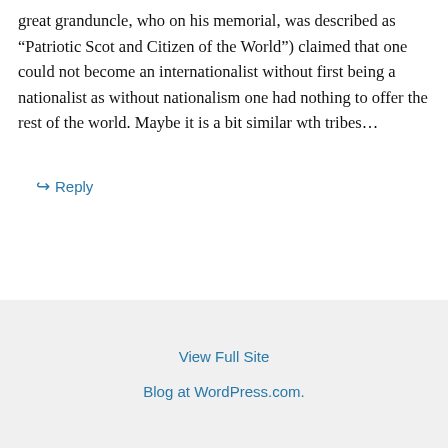great granduncle, who on his memorial, was described as “Patriotic Scot and Citizen of the World”) claimed that one could not become an internationalist without first being a nationalist as without nationalism one had nothing to offer the rest of the world. Maybe it is a bit similar wth tribes…
↳ Reply
View Full Site
Blog at WordPress.com.